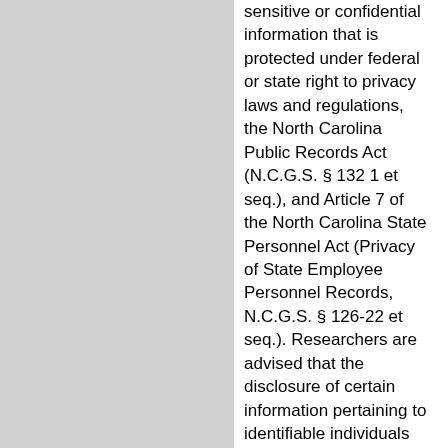sensitive or confidential information that is protected under federal or state right to privacy laws and regulations, the North Carolina Public Records Act (N.C.G.S. § 132 1 et seq.), and Article 7 of the North Carolina State Personnel Act (Privacy of State Employee Personnel Records, N.C.G.S. § 126-22 et seq.). Researchers are advised that the disclosure of certain information pertaining to identifiable individuals